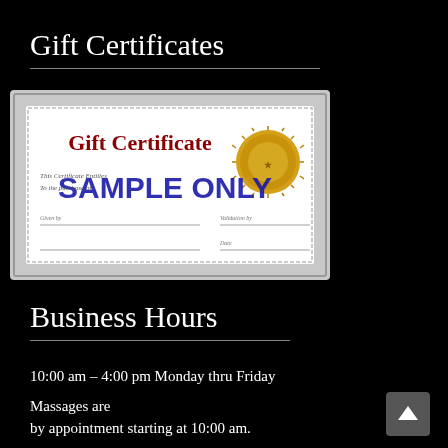Gift Certificates
[Figure (illustration): A sample gift certificate with decorative border, text reading 'Gift Certificate' in red serif font, 'SAMPLE ONLY' in bold blue text overlay, a gold seal/medallion on the right, and fields for 'This Certificate Entitles', 'To the purchase of', 'Validation by', 'Given by', and 'Date'.]
Business Hours
10:00 am – 4:00 pm Monday thru Friday
Massages are by appointment starting at 10:00 am.